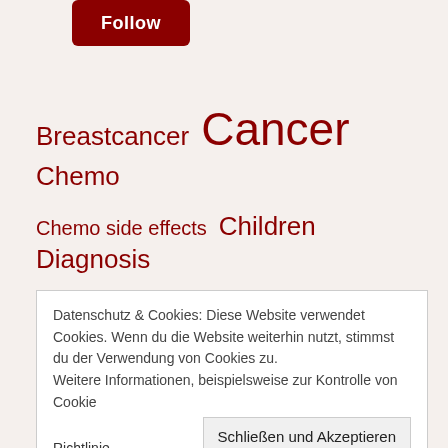[Figure (other): Dark red Follow button at top left]
Breastcancer Cancer Chemo Chemo side effects Children Diagnosis Emotions Family Feet Food Friends Hairloss
Datenschutz & Cookies: Diese Website verwendet Cookies. Wenn du die Website weiterhin nutzt, stimmst du der Verwendung von Cookies zu. Weitere Informationen, beispielsweise zur Kontrolle von Cookies, findest du hier: Cookie-Richtlinie
Schließen und Akzeptieren